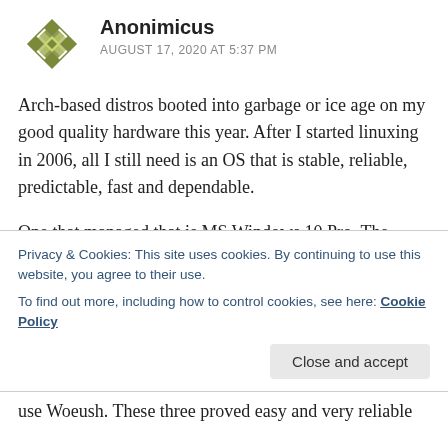[Figure (illustration): Green decorative quilt-pattern avatar icon for user Anonimicus]
Anonimicus
AUGUST 17, 2020 AT 5:37 PM
Arch-based distros booted into garbage or ice age on my good quality hardware this year. After I started linuxing in 2006, all I still need is an OS that is stable, reliable, predictable, fast and dependable.
One that managed that is MS Windows 10 Pro. The other is Mint Cinnamon DE.
For those of us that have a life beyond computers and
Privacy & Cookies: This site uses cookies. By continuing to use this website, you agree to their use.
To find out more, including how to control cookies, see here: Cookie Policy
use Woeush. These three proved easy and very reliable